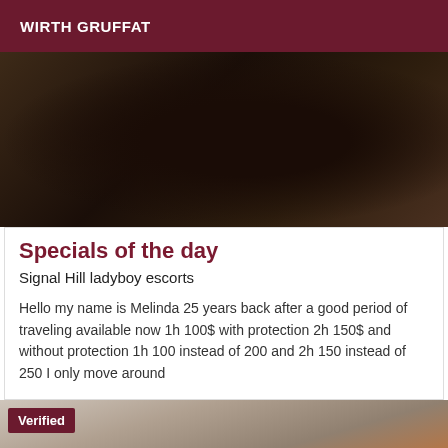WIRTH GRUFFAT
[Figure (photo): Dark photograph showing a person's torso in a black outfit against a light background]
Specials of the day
Signal Hill ladyboy escorts
Hello my name is Melinda 25 years back after a good period of traveling available now 1h 100$ with protection 2h 150$ and without protection 1h 100 instead of 200 and 2h 150 instead of 250 I only move around
[Figure (photo): Photo with a Verified badge, showing a partial figure against a light wall with an orange element on the right]